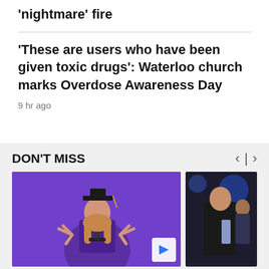'nightmare' fire
'These are users who have been given toxic drugs': Waterloo church marks Overdose Awareness Day
9 hr ago
DON'T MISS
[Figure (photo): Person in graduation regalia with purple gown and cap making peace signs at a podium, with 'NEW YORK UNIV' banner visible in background]
[Figure (photo): Partial photo of crowd scene, person in dark suit visible from behind]